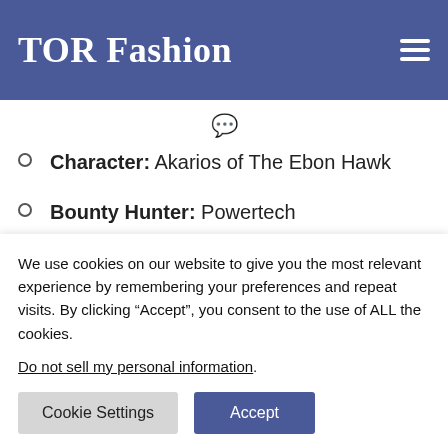TOR Fashion
Character: Akarios of The Ebon Hawk
Bounty Hunter: Powertech
Submitted by: Mooncaster
Pants are from the Zakuulan Preserver set and the blaster is the Artful Trickster's Heavy Blaster from the
We use cookies on our website to give you the most relevant experience by remembering your preferences and repeat visits. By clicking “Accept”, you consent to the use of ALL the cookies.
Do not sell my personal information.